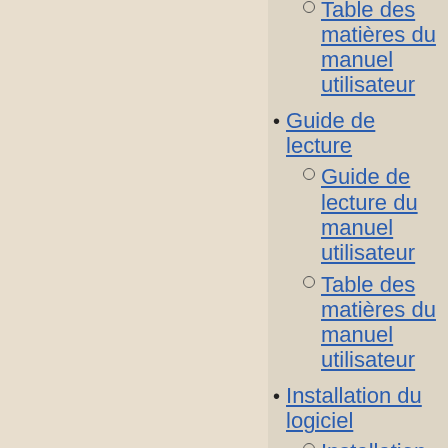au manuel utilisateur
Table des matières du manuel utilisateur
Guide de lecture
Guide de lecture du manuel utilisateur
Table des matières du manuel utilisateur
Installation du logiciel
Installation du logiciel
Les classiques de l'installation du logiciel LibertyLook
Erreur au...